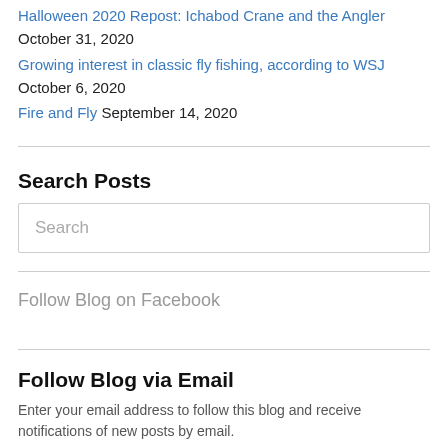Halloween 2020 Repost: Ichabod Crane and the Angler October 31, 2020
Growing interest in classic fly fishing, according to WSJ October 6, 2020
Fire and Fly September 14, 2020
Search Posts
Search
Follow Blog on Facebook
Follow Blog via Email
Enter your email address to follow this blog and receive notifications of new posts by email.